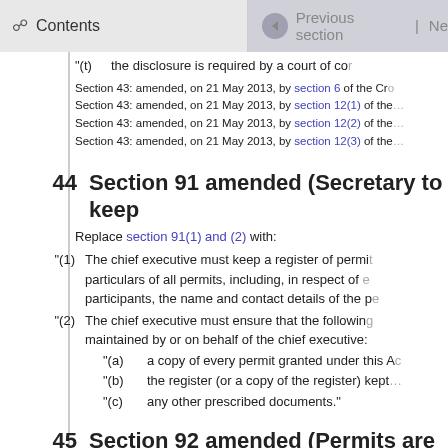Contents | Previous section
“(t)    the disclosure is required by a court of co…
Section 43: amended, on 21 May 2013, by section 6 of the Cro…
Section 43: amended, on 21 May 2013, by section 12(1) of the…
Section 43: amended, on 21 May 2013, by section 12(2) of the…
Section 43: amended, on 21 May 2013, by section 12(3) of the…
44   Section 91 amended (Secretary to keep…
Replace section 91(1) and (2) with:
“(1)   The chief executive must keep a register of permi…particulars of all permits, including, in respect of…participants, the name and contact details of the p…
“(2)   The chief executive must ensure that the followin…maintained by or on behalf of the chief executive:
“(a)   a copy of every permit granted under this A…
“(b)   the register (or a copy of the register) kept…
“(c)   any other prescribed documents.”
45   Section 92 amended (Permits are not re…
(1)   Replace section 92(2)(a) with:
“(a)   on the death of a permit participant, his or…